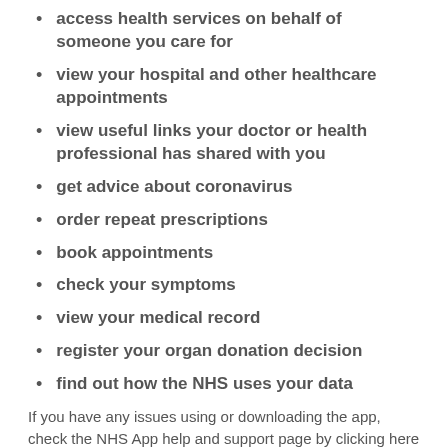access health services on behalf of someone you care for
view your hospital and other healthcare appointments
view useful links your doctor or health professional has shared with you
get advice about coronavirus
order repeat prescriptions
book appointments
check your symptoms
view your medical record
register your organ donation decision
find out how the NHS uses your data
If you have any issues using or downloading the app, check the NHS App help and support page by clicking here